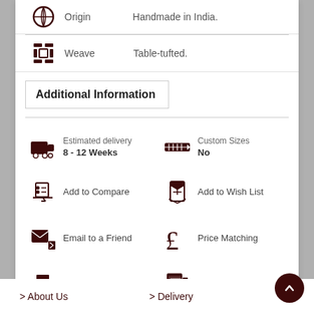Origin — Handmade in India.
Weave — Table-tufted.
Additional Information
Estimated delivery 8 - 12 Weeks
Custom Sizes No
Add to Compare
Add to Wish List
Email to a Friend
Price Matching
Print Page
Order by Phone
> About Us   > Delivery